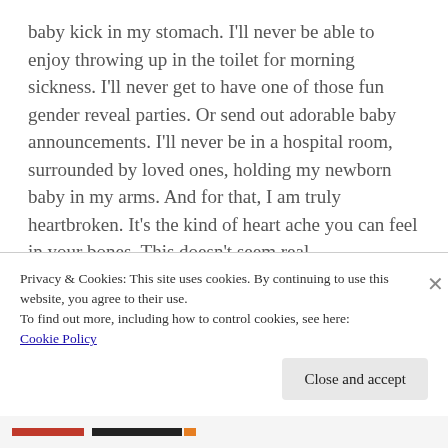baby kick in my stomach. I'll never be able to enjoy throwing up in the toilet for morning sickness. I'll never get to have one of those fun gender reveal parties. Or send out adorable baby announcements. I'll never be in a hospital room, surrounded by loved ones, holding my newborn baby in my arms. And for that, I am truly heartbroken. It's the kind of heart ache you can feel in your bones. This doesn't seem real.
Four years trying and we couldn't make it happen.
Privacy & Cookies: This site uses cookies. By continuing to use this website, you agree to their use.
To find out more, including how to control cookies, see here: Cookie Policy